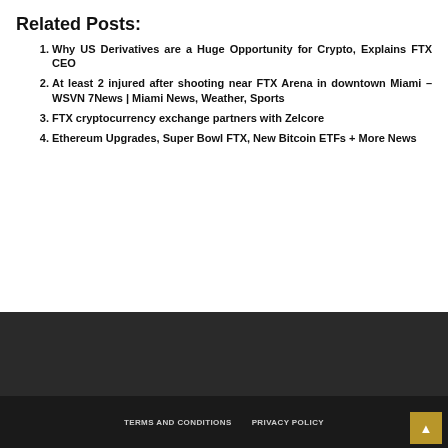Related Posts:
Why US Derivatives are a Huge Opportunity for Crypto, Explains FTX CEO
At least 2 injured after shooting near FTX Arena in downtown Miami – WSVN 7News | Miami News, Weather, Sports
FTX cryptocurrency exchange partners with Zelcore
Ethereum Upgrades, Super Bowl FTX, New Bitcoin ETFs + More News
TAGS  SHORT TERM  UNITED STATES
TERMS AND CONDITIONS   PRIVACY POLICY